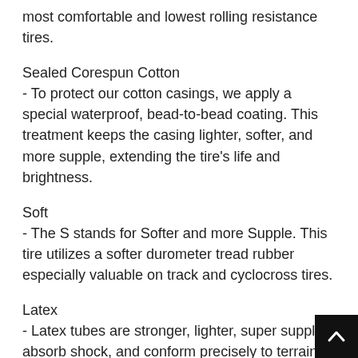most comfortable and lowest rolling resistance tires.
Sealed Corespun Cotton
- To protect our cotton casings, we apply a special waterproof, bead-to-bead coating. This treatment keeps the casing lighter, softer, and more supple, extending the tire's life and brightness.
Soft
- The S stands for Softer and more Supple. This tire utilizes a softer durometer tread rubber especially valuable on track and cyclocross tires.
Latex
- Latex tubes are stronger, lighter, super supple, absorb shock, and conform precisely to terrain, reducing rolling resistance.
PPS
- The Puncture Protection Strip is a special fabric place